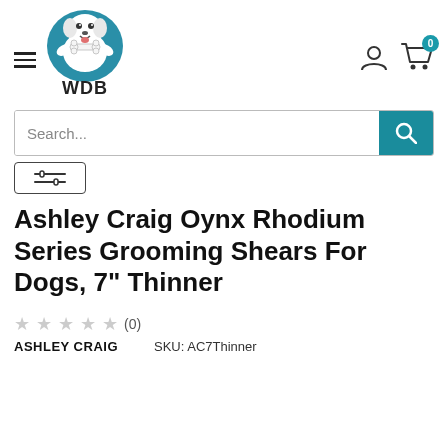[Figure (logo): WDB (WorldofDogBeauty) logo: cartoon dog holding a bone in teal circular background with WDB text below]
Ashley Craig Oynx Rhodium Series Grooming Shears For Dogs, 7" Thinner
★★★★★ (0)
ASHLEY CRAIG    SKU: AC7Thinner